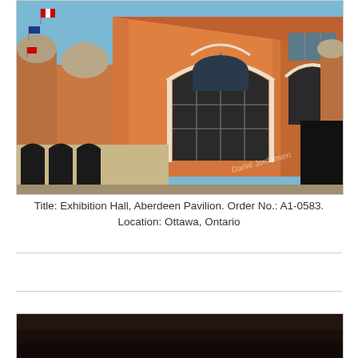[Figure (photo): Exterior photograph of Exhibition Hall, Aberdeen Pavilion in Ottawa, Ontario. The building features orange/terracotta coloured walls, ornate architectural details, copper domed towers, arched windows, and Canadian flags. The photo is taken from a low angle showing the front facade against a blue sky.]
Title: Exhibition Hall, Aberdeen Pavilion. Order No.: A1-0583. Location: Ottawa, Ontario
[Figure (photo): Partial view of another photograph, showing only the top edge — appears to be a dark brown/black image, possibly an interior or nighttime exterior shot.]